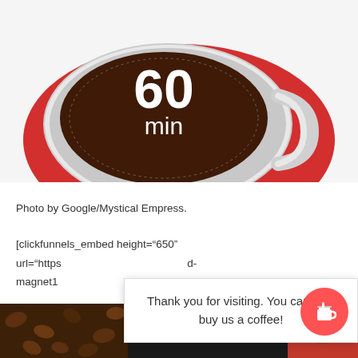[Figure (photo): Red coffee cup on a red saucer with a dark espresso/timer face showing '60 min' in white text, viewed from above]
Photo by Google/Mystical Empress.
[clickfunnels_embed height="650"
url="https                                                        d-
magnet1
Thank you for visiting. You can now buy us a coffee!
[Figure (photo): Bottom strip showing coffee beans on left, FREE text in center, red coffee cup on right]